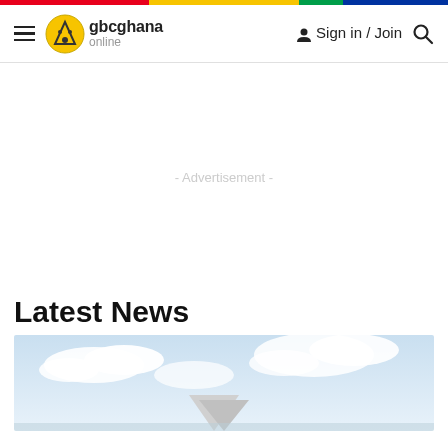gbcghana online — Sign in / Join
- Advertisement -
Latest News
[Figure (photo): News article thumbnail showing sky with clouds and partial view of a structure]